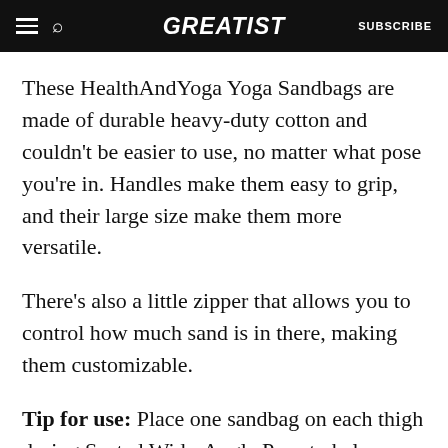GREATIST | SUBSCRIBE
These HealthAndYoga Yoga Sandbags are made of durable heavy-duty cotton and couldn't be easier to use, no matter what pose you're in. Handles make them easy to grip, and their large size make them more versatile.
There's also a little zipper that allows you to control how much sand is in there, making them customizable.
Tip for use: Place one sandbag on each thigh during Seated Wide-Angle Pose to help encourage the external rotation of the legs.